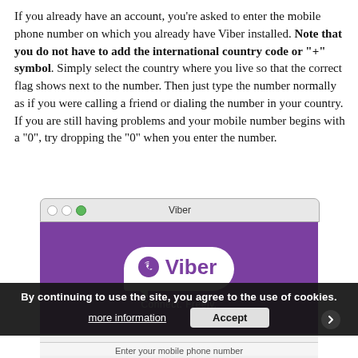If you already have an account, you're asked to enter the mobile phone number on which you already have Viber installed. Note that you do not have to add the international country code or "+" symbol. Simply select the country where you live so that the correct flag shows next to the number. Then just type the number normally as if you were calling a friend or dialing the number in your country. If you are still having problems and your mobile number begins with a "0", try dropping the "0" when you enter the number.
[Figure (screenshot): Screenshot of Viber application window on macOS showing the Viber logo (white speech bubble with phone icon and 'Viber' text, 'Connect. Freely.' tagline) on a purple background, with a cookie consent banner overlay at the bottom reading 'By continuing to use the site, you agree to the use of cookies.' with 'more information' and 'Accept' buttons, and partial 'Enter your mobile phone number' text visible at the bottom.]